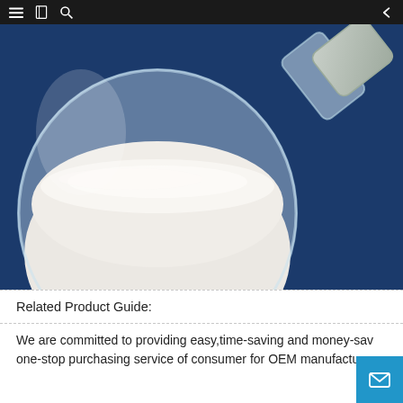[Figure (photo): A glass jar tipped on its side on a dark blue surface, filled with white powder (likely a food ingredient or chemical substance). The jar is transparent and the white powder fills the lower portion. The lid/neck of the jar extends to the upper right.]
Related Product Guide:
We are committed to providing easy,time-saving and money-sav... one-stop purchasing service of consumer for OEM manufacturer